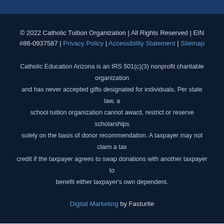© 2022 Catholic Tuition Organization | All Rights Reserved | EIN #86-0937587 | Privacy Policy | Accessibility Statement | Sitemap
Catholic Education Arizona is an IRS 501(c)(3) nonprofit charitable organization and has never accepted gifts designated for individuals. Per state law, a school tuition organization cannot award, restrict or reserve scholarships solely on the basis of donor recommendation. A taxpayer may not claim a tax credit if the taxpayer agrees to swap donations with another taxpayer to benefit either taxpayer's own dependent.
Digital Marketing by Fasturtle
[Figure (illustration): Dark chat bubble icon in bottom right corner]